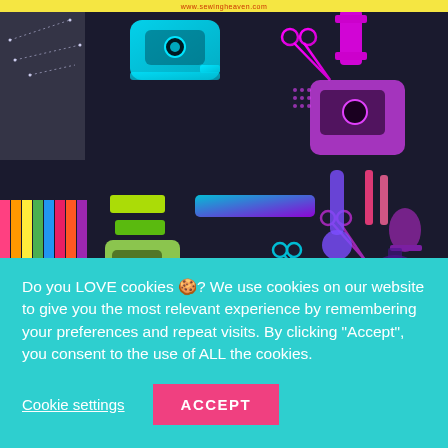www.sewingheaven.com
[Figure (photo): Dark background with colorful neon gradient sewing and craft icons arranged in a collage: sewing machines, scissors, thread, needles, zippers, buttons, thimbles. Bottom-left portion shows colorful pink foam organizer strips.]
Do you LOVE cookies 🍪? We use cookies on our website to give you the most relevant experience by remembering your preferences and repeat visits. By clicking "Accept", you consent to the use of ALL the cookies.
Cookie settings
ACCEPT